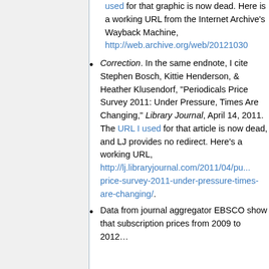used for that graphic is now dead. Here is a working URL from the Internet Archive's Wayback Machine, http://web.archive.org/web/20121030...
Correction. In the same endnote, I cite Stephen Bosch, Kittie Henderson, & Heather Klusendorf, "Periodicals Price Survey 2011: Under Pressure, Times Are Changing," Library Journal, April 14, 2011. The URL I used for that article is now dead, and LJ provides no redirect. Here's a working URL, http://lj.libraryjournal.com/2011/04/pu... price-survey-2011-under-pressure-times-are-changing/.
Data from journal aggregator EBSCO show that subscription prices from 2009 to 2012...